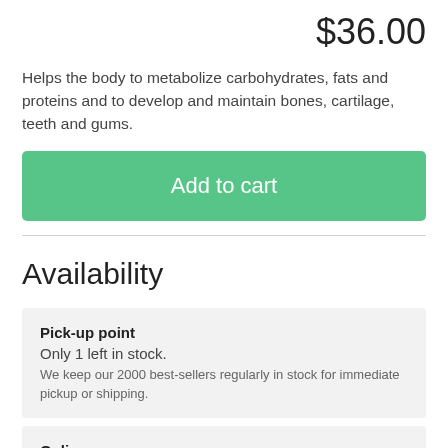$36.00
Helps the body to metabolize carbohydrates, fats and proteins and to develop and maintain bones, cartilage, teeth and gums.
Add to cart
Availability
Pick-up point
Only 1 left in stock.
We keep our 2000 best-sellers regularly in stock for immediate pickup or shipping.
Online
Available from the supplier ✔
Available according to the latest information. Suppliers do not advise us in